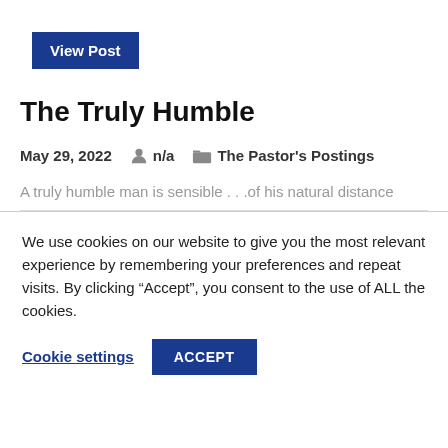[Figure (other): View Post button — dark blue rectangular button with white bold text]
The Truly Humble
May 29, 2022   n/a   The Pastor's Postings
A truly humble man is sensible . . .of his natural distance
We use cookies on our website to give you the most relevant experience by remembering your preferences and repeat visits. By clicking “Accept”, you consent to the use of ALL the cookies.
Cookie settings   ACCEPT